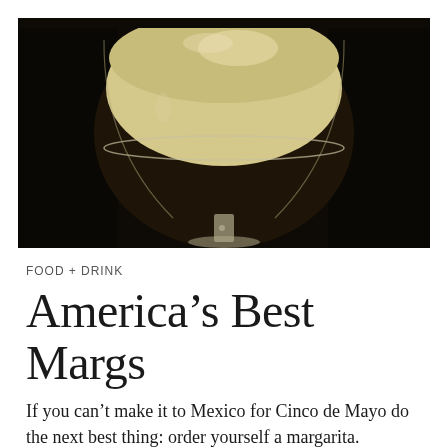[Figure (photo): Close-up photograph of a margarita cocktail in a wide-rimmed martini glass with a yellowish-cream colored drink, dark moody background]
FOOD + DRINK
America’s Best Margs
If you can’t make it to Mexico for Cinco de Mayo do the next best thing: order yourself a margarita. Charlotte Steinway rounds